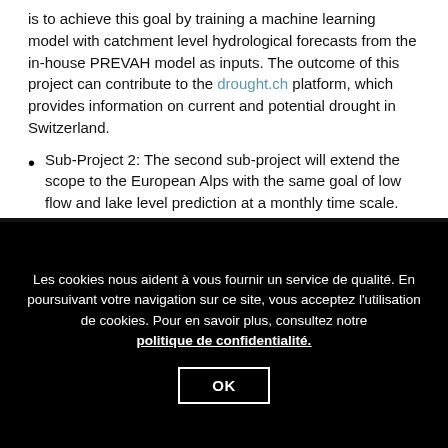is to achieve this goal by training a machine learning model with catchment level hydrological forecasts from the in-house PREVAH model as inputs. The outcome of this project can contribute to the drought.ch platform, which provides information on current and potential drought in Switzerland.
Sub-Project 2: The second sub-project will extend the scope to the European Alps with the same goal of low flow and lake level prediction at a monthly time scale. This is part of the Alpine Drought Observatory (ADO) INTERREG project commissioned by the European Union, which is
Les cookies nous aident à vous fournir un service de qualité. En poursuivant votre navigation sur ce site, vous acceptez l'utilisation de cookies. Pour en savoir plus, consultez notre politique de confidentialité.